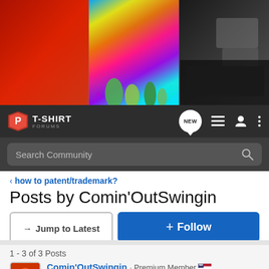[Figure (photo): Hero banner image showing screen printing process with colorful inks — red squeegee on left, multicolor dripping inks in center, dark printing machine on right]
[Figure (screenshot): Navigation bar with T-Shirt Forums logo, NEW chat bubble icon, list icon, user icon, and three-dots menu icon, with search bar below reading 'Search Community']
< how to patent/trademark?
Posts by Comin'OutSwingin
→ Jump to Latest
+ Follow
1 - 3 of 3 Posts
Comin'OutSwingin · Premium Member 🇺🇸
Joined Oct 28, 2005 · 2,957 Posts